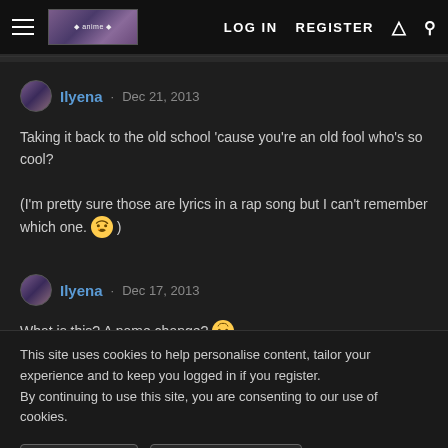LOG IN  REGISTER
Ilyena · Dec 21, 2013
Taking it back to the old school 'cause you're an old fool who's so cool?
(I'm pretty sure those are lyrics in a rap song but I can't remember which one. 🤔 )
Ilyena · Dec 17, 2013
What is this? A name change? 😲
This site uses cookies to help personalise content, tailor your experience and to keep you logged in if you register.
By continuing to use this site, you are consenting to our use of cookies.